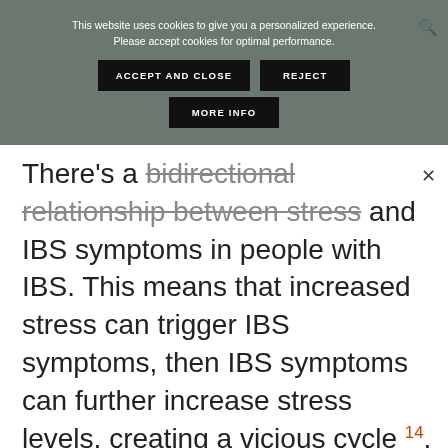This website uses cookies to give you a personalized experience. Please accept cookies for optimal performance. ACCEPT AND CLOSE | REJECT | MORE INFO
There's a bidirectional relationship between stress and IBS symptoms in people with IBS. This means that increased stress can trigger IBS symptoms, then IBS symptoms can further increase stress levels, creating a vicious cycle 14.